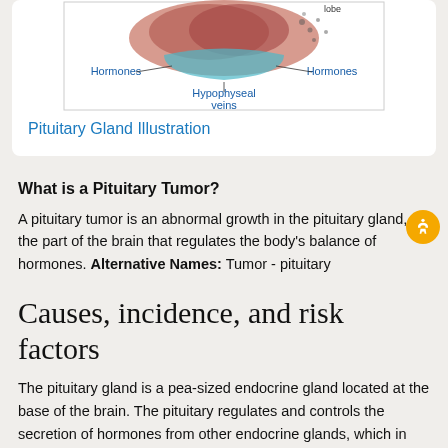[Figure (illustration): Partial view of a pituitary gland anatomical illustration showing labeled Hormones (left and right) and Hypophyseal veins at the bottom]
Pituitary Gland Illustration
What is a Pituitary Tumor?
A pituitary tumor is an abnormal growth in the pituitary gland, the part of the brain that regulates the body's balance of hormones. Alternative Names: Tumor - pituitary
Causes, incidence, and risk factors
The pituitary gland is a pea-sized endocrine gland located at the base of the brain. The pituitary regulates and controls the secretion of hormones from other endocrine glands, which in turn regulate many body processes. These